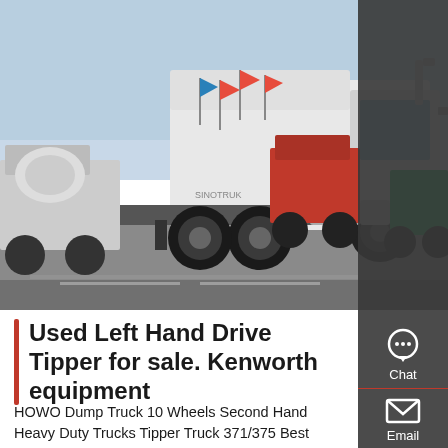[Figure (photo): A large white HOWO semi-truck/tractor unit in the foreground parked in a lot, with several other trucks including a cement mixer and red trucks visible in the background. Flags and industrial setting visible.]
Used Left Hand Drive Tipper for sale. Kenworth equipment
HOWO Dump Truck 10 Wheels Second Hand Heavy Duty Trucks Tipper Truck 371/375 Best Condition Right Hand Drive and Left Hand Drive for Uganda. Manufacturer: Sinotruk - Howo Used 6X4 10 Wheels 336 /340 /371 /375 Dump Truck Dumper Truck Dumping Truck Tipper Truck Tipping Truck for Man M...